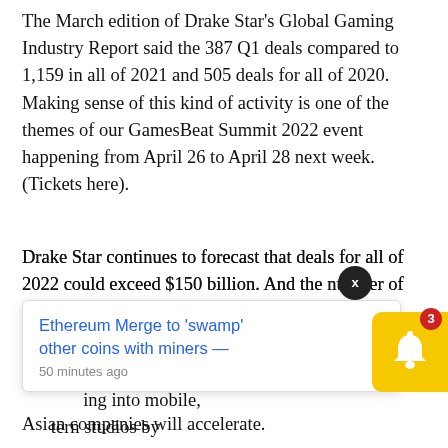The March edition of Drake Star's Global Gaming Industry Report said the 387 Q1 deals compared to 1,159 in all of 2021 and 505 deals for all of 2020. Making sense of this kind of activity is one of the themes of our GamesBeat Summit 2022 event happening from April 26 to April 28 next week. (Tickets here).
Drake Star continues to forecast that deals for all of 2022 could exceed $150 billion. And the number of investments in game companies in 2022 is expected to hit a record, Metzger said. Gaming companies have historically focused on the PC/console segment
[Figure (other): Browser notification popup overlay showing 'Ethereum Merge to swamp other coins with miners — 50 minutes ago' with a yellow bell icon and red badge showing 3 notifications, and a black X close button.]
Asian companies will accelerate.